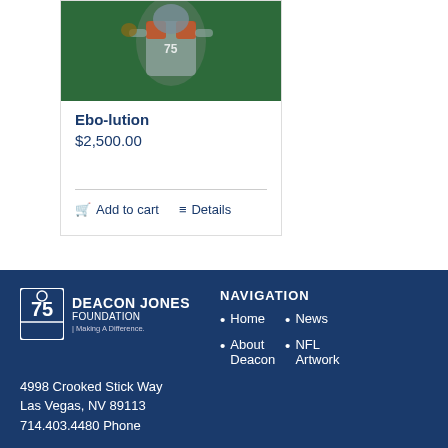[Figure (photo): Sports action photo showing athlete in gray and orange uniform on green background]
Ebo-lution
$2,500.00
Add to cart   Details
[Figure (logo): Deacon Jones Foundation logo with number 75 badge]
NAVIGATION
4998 Crooked Stick Way
Las Vegas, NV 89113
714.403.4480 Phone
Home
About Deacon
News
NFL Artwork